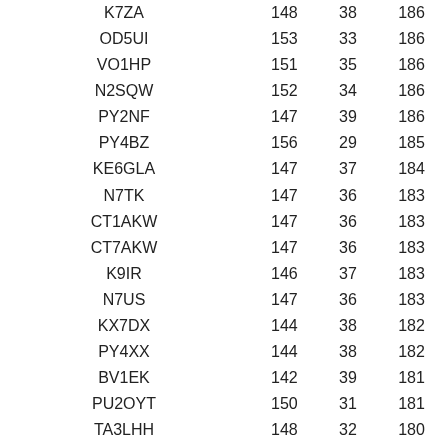| K7ZA | 148 | 38 | 186 |
| OD5UI | 153 | 33 | 186 |
| VO1HP | 151 | 35 | 186 |
| N2SQW | 152 | 34 | 186 |
| PY2NF | 147 | 39 | 186 |
| PY4BZ | 156 | 29 | 185 |
| KE6GLA | 147 | 37 | 184 |
| N7TK | 147 | 36 | 183 |
| CT1AKW | 147 | 36 | 183 |
| CT7AKW | 147 | 36 | 183 |
| K9IR | 146 | 37 | 183 |
| N7US | 147 | 36 | 183 |
| KX7DX | 144 | 38 | 182 |
| PY4XX | 144 | 38 | 182 |
| BV1EK | 142 | 39 | 181 |
| PU2OYT | 150 | 31 | 181 |
| TA3LHH | 148 | 32 | 180 |
| NU7J | 142 | 38 | 180 |
| N7JP | 143 | 37 | 180 |
| KM2O | 141 | 37 | 178 |
| AF4T | 144 | 34 | 178 |
| KB2S/2 | 149 | 28 | 177 |
| ZL1RRW | 139 | 38 | 177 |